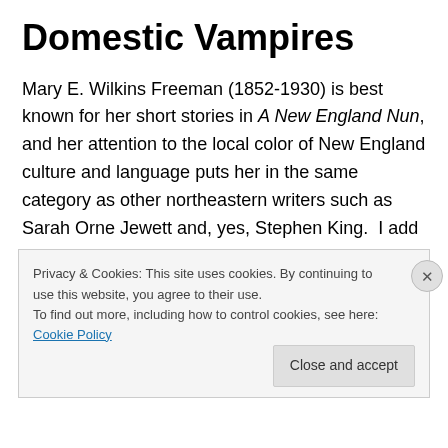Domestic Vampires
Mary E. Wilkins Freeman (1852-1930) is best known for her short stories in A New England Nun, and her attention to the local color of New England culture and language puts her in the same category as other northeastern writers such as Sarah Orne Jewett and, yes, Stephen King.  I add King's name here because he must be a fan of Freeman's works, treading as they do the ground that King has found so amenable to his own dark stories: the insular New England towns filled with eccentric, borderline
Privacy & Cookies: This site uses cookies. By continuing to use this website, you agree to their use.
To find out more, including how to control cookies, see here: Cookie Policy
Close and accept